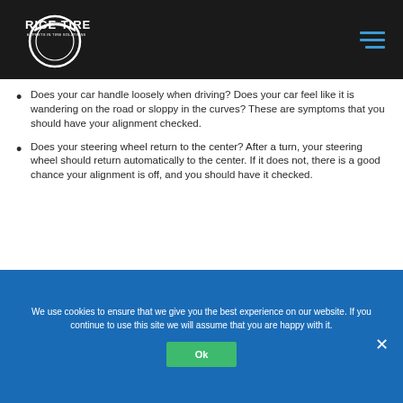Rice Tire - Experts in Tire Solutions
Does your car handle loosely when driving?  Does your car feel like it is wandering on the road or sloppy in the curves?  These are symptoms that you should have your alignment checked.
Does your steering wheel return to the center?  After a turn, your steering wheel should return automatically to the center.  If it does not, there is a good chance your alignment is off, and you should have it checked.
We use cookies to ensure that we give you the best experience on our website. If you continue to use this site we will assume that you are happy with it.